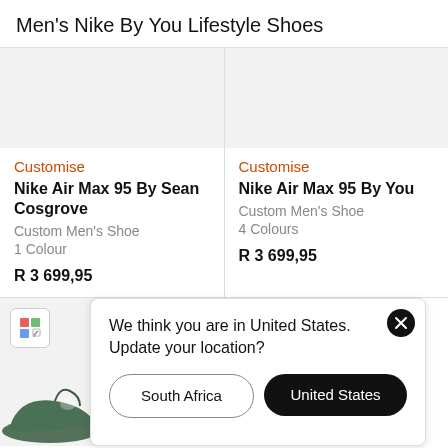Men's Nike By You Lifestyle Shoes
Customise
Nike Air Max 95 By Sean Cosgrove
Custom Men's Shoe
1 Colour
R 3 699,95
Customise
Nike Air Max 95 By You
Custom Men's Shoe
4 Colours
R 3 699,95
We think you are in United States. Update your location?
South Africa
United States